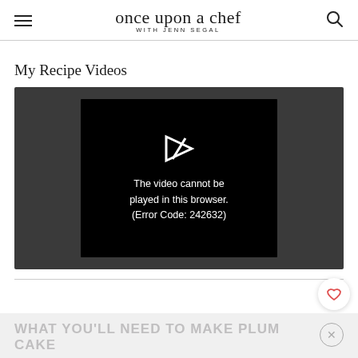once upon a chef WITH JENN SEGAL
My Recipe Videos
[Figure (screenshot): Video player showing an error message: 'The video cannot be played in this browser. (Error Code: 242632)' with a broken play icon on a dark background.]
WHAT YOU'LL NEED TO MAKE PLUM CAKE